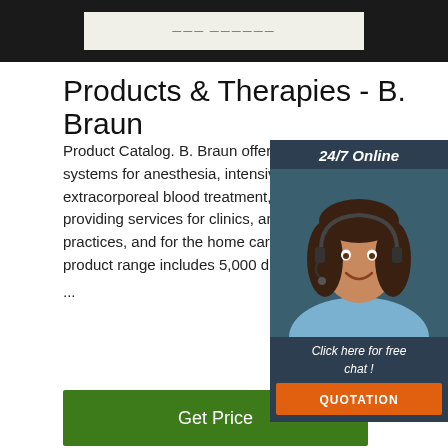[Figure (photo): Top dark background with a white label/card in the center, partially visible]
Products & Therapies - B. Braun
Product Catalog. B. Braun offers products and programs / systems for anesthesia, intensive care, cardiology, extracorporeal blood treatment, and surgery, as well as providing services for clinics, and physicians in private practices, and for the home care sector. In total, the product range includes 5,000 different products, ...
[Figure (photo): 24/7 Online chat widget with a smiling woman wearing a headset, dark blue background with 'Click here for free chat!' text and orange QUOTATION button]
Get Price
[Figure (photo): Dark background with a white oval/dome shaped product (possibly a medical bag or pouch) and an orange TOP logo in the bottom right]